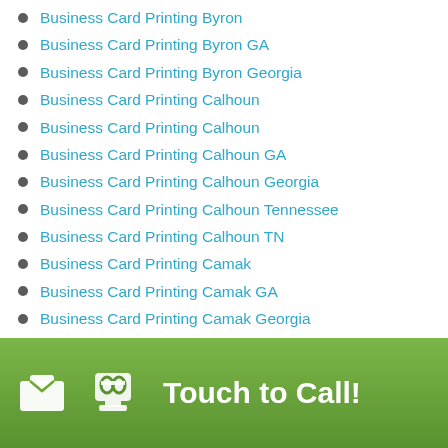Business Card Printing Byron
Business Card Printing Byron GA
Business Card Printing Byron Georgia
Business Card Printing Calhoun
Business Card Printing Calhoun
Business Card Printing Calhoun GA
Business Card Printing Calhoun Georgia
Business Card Printing Calhoun Tennessee
Business Card Printing Calhoun TN
Business Card Printing Camak
Business Card Printing Camak GA
Business Card Printing Camak Georgia
Business Card Printing Camp Hill
Business Card Printing Camp Hill AL
Business Card Printing Camp Hill Alabama
Business Card Printing Canon
Business Card Printing Canon GA
Business Card Printing Canon Georgia
Touch to Call!